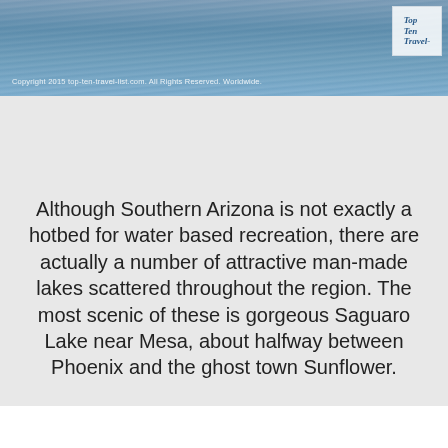[Figure (photo): Water/lake scene with boat, grey-blue water surface with wave textures, website copyright banner at bottom of image]
Copyright 2015 top-ten-travel-list.com. All Rights Reserved. Worldwide.
Although Southern Arizona is not exactly a hotbed for water based recreation, there are actually a number of attractive man-made lakes scattered throughout the region. The most scenic of these is gorgeous Saguaro Lake near Mesa, about halfway between Phoenix and the ghost town Sunflower.